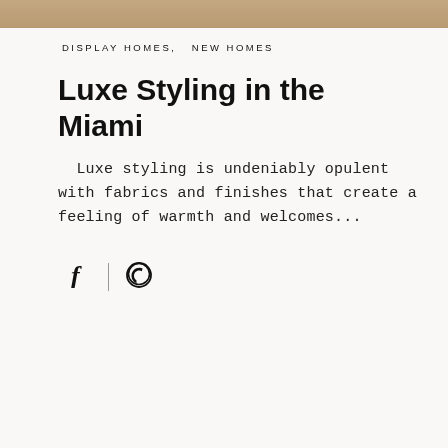[Figure (photo): Top banner image showing interior decor in warm tones]
DISPLAY HOMES,   NEW HOMES
Luxe Styling in the Miami
Luxe styling is undeniably opulent with fabrics and finishes that create a feeling of warmth and welcomes...
[Figure (other): Social share icons: Facebook and Pinterest]